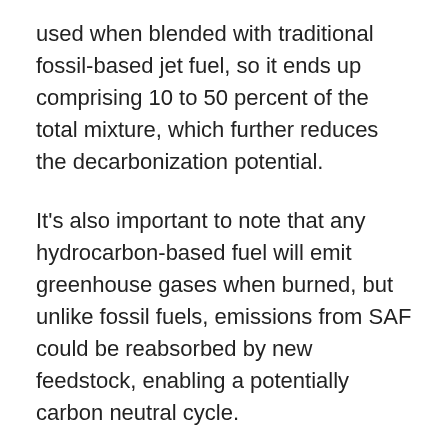used when blended with traditional fossil-based jet fuel, so it ends up comprising 10 to 50 percent of the total mixture, which further reduces the decarbonization potential.
It's also important to note that any hydrocarbon-based fuel will emit greenhouse gases when burned, but unlike fossil fuels, emissions from SAF could be reabsorbed by new feedstock, enabling a potentially carbon neutral cycle.
Eventually, it might be possible to create SAF out of captured carbon dioxide and green hydrogen, so the supply would be virtually limitless, but like so many other solutions for reaching the high-hanging fruit, the technology isn't ready yet, and it won't be for some time.
Like planes, trucks and buses can run on fuel produced